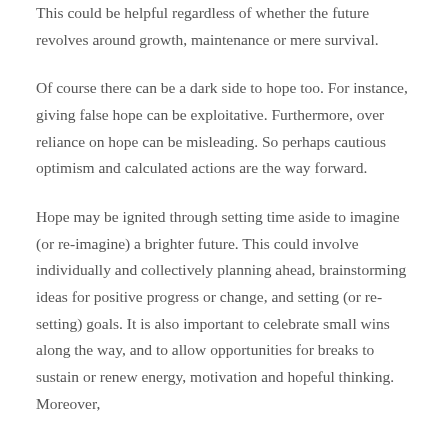This could be helpful regardless of whether the future revolves around growth, maintenance or mere survival.
Of course there can be a dark side to hope too. For instance, giving false hope can be exploitative. Furthermore, over reliance on hope can be misleading. So perhaps cautious optimism and calculated actions are the way forward.
Hope may be ignited through setting time aside to imagine (or re-imagine) a brighter future. This could involve individually and collectively planning ahead, brainstorming ideas for positive progress or change, and setting (or re-setting) goals. It is also important to celebrate small wins along the way, and to allow opportunities for breaks to sustain or renew energy, motivation and hopeful thinking. Moreover,